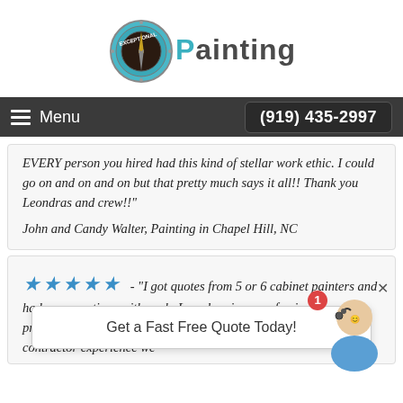[Figure (logo): Exceptional Painting logo with teal/turquoise compass-like circular graphic and 'Painting' text in gray/dark with teal 'P']
Menu  (919) 435-2997
EVERY person you hired had this kind of stellar work ethic. I could go on and on and on but that pretty much says it all!! Thank you Leondras and crew!!"
John and Candy Walter, Painting in Chapel Hill, NC
★★★★★ - "I got quotes from 5 or 6 cabinet painters and had conversations with each. Leondras is as professional as professional as professional as they come. Whole experience was the best contractor experience we
Get a Fast Free Quote Today!